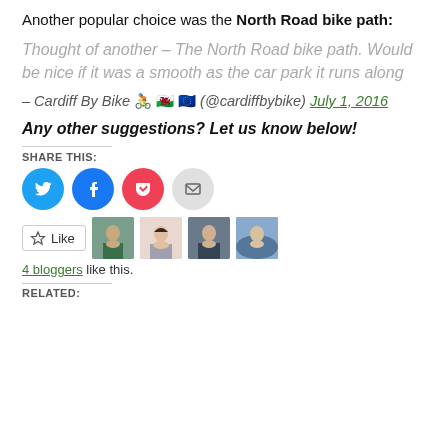Another popular choice was the North Road bike path:
Thought of another – The North Road bike path. Would be nice if it was a smooth as the car park it runs along
– Cardiff By Bike 🚴 🏴󠁧󠁢󠁷󠁬󠁳󠁿 🇪🇺 (@cardiffbybike) July 1, 2016
Any other suggestions? Let us know below!
SHARE THIS:
[Figure (infographic): Social share buttons: Twitter (blue circle), Facebook (blue circle), Pocket (red circle), Email (grey circle)]
[Figure (infographic): Like button with star icon and 4 blogger avatars]
4 bloggers like this.
RELATED: